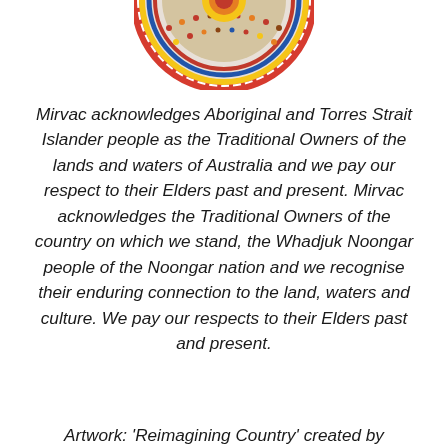[Figure (illustration): Circular Indigenous artwork with colourful patterns – partially cropped at top of page]
Mirvac acknowledges Aboriginal and Torres Strait Islander people as the Traditional Owners of the lands and waters of Australia and we pay our respect to their Elders past and present. Mirvac acknowledges the Traditional Owners of the country on which we stand, the Whadjuk Noongar people of the Noongar nation and we recognise their enduring connection to the land, waters and culture. We pay our respects to their Elders past and present.
Artwork: 'Reimagining Country' created by